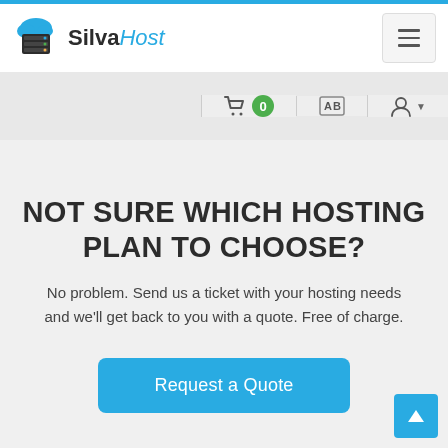SilvaHost
NOT SURE WHICH HOSTING PLAN TO CHOOSE?
No problem. Send us a ticket with your hosting needs and we'll get back to you with a quote. Free of charge.
Request a Quote